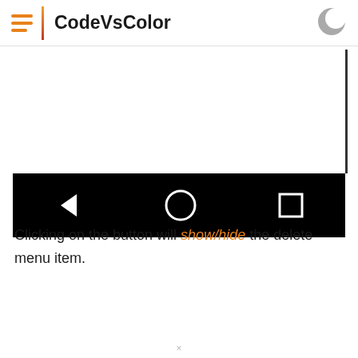CodeVsColor
[Figure (screenshot): Android phone screenshot showing a black navigation bar at the bottom with back (triangle), home (circle), and recent apps (square) buttons in white on black background]
Clicking on the button will show/hide the delete menu item.